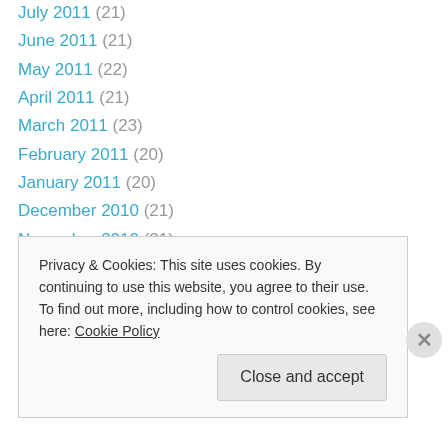July 2011 (21)
June 2011 (21)
May 2011 (22)
April 2011 (21)
March 2011 (23)
February 2011 (20)
January 2011 (20)
December 2010 (21)
November 2010 (21)
October 2010 (21)
September 2010 (22)
August 2010 (22)
July 2010 (22)
June 2010 (22)
Privacy & Cookies: This site uses cookies. By continuing to use this website, you agree to their use.
To find out more, including how to control cookies, see here: Cookie Policy
Close and accept